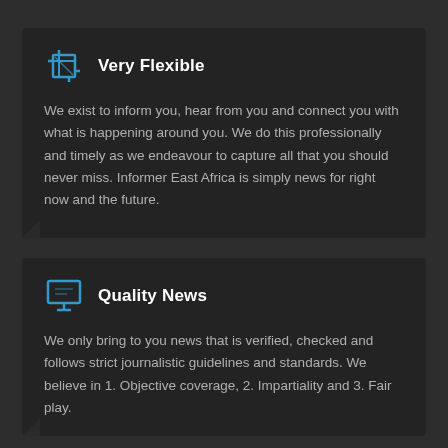Very Flexible
We exist to inform you, hear from you and connect you with what is happening around you. We do this professionally and timely as we endeavour to capture all that you should never miss. Informer East Africa is simply news for right now and the future.
Quality News
We only bring to you news that is verified, checked and follows strict journalistic guidelines and standards. We believe in 1. Objective coverage, 2. Impartiality and 3. Fair play.